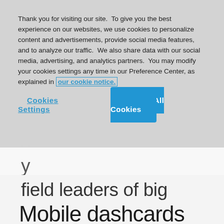Thank you for visiting our site.  To give you the best experience on our websites, we use cookies to personalize content and advertisements, provide social media features, and to analyze our traffic.  We also share data with our social media, advertising, and analytics partners.  You may modify your cookies settings any time in our Preference Center, as explained in our cookie notice.
Cookies Settings
Accept All Cookies
field leaders of big data management.
Mobile dashboards